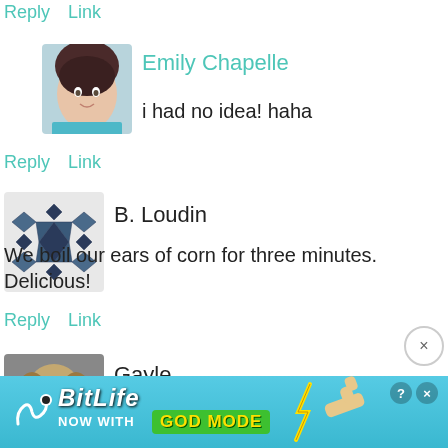Reply  Link
[Figure (photo): Profile photo of Emily Chapelle, a woman with dark hair]
Emily Chapelle
i had no idea! haha
Reply  Link
[Figure (illustration): Geometric snowflake/diamond pattern avatar for B. Loudin]
B. Loudin
We boil our ears of corn for three minutes. Delicious!
Reply  Link
[Figure (photo): Profile photo of Gayle, showing a dog]
Gayle
[Figure (screenshot): BitLife advertisement banner: NOW WITH GOD MODE]